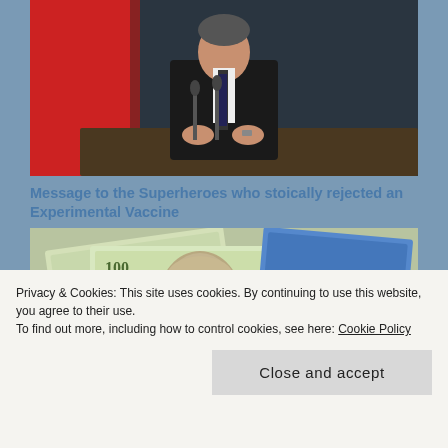[Figure (photo): Man in dark suit sitting at a table with microphones, gesturing with hands. Red flag visible in background.]
Message to the Superheroes who stoically rejected an Experimental Vaccine
[Figure (photo): US dollar bills with a gloved hand holding a syringe in the foreground.]
Privacy & Cookies: This site uses cookies. By continuing to use this website, you agree to their use.
To find out more, including how to control cookies, see here: Cookie Policy
Close and accept